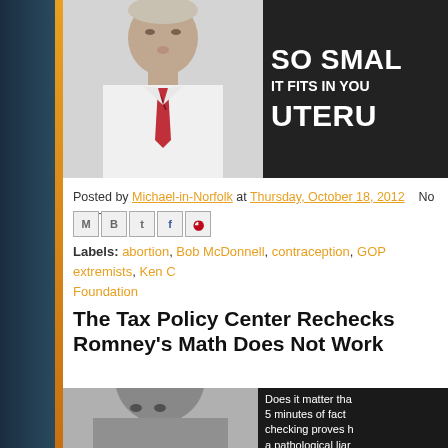[Figure (photo): Top image: man in white shirt and red tie on left; dark background with large white bold text 'SO SMAL IT FITS IN YOU UTERU' on right (text cropped)]
Posted by Michael-in-Norfolk at Thursday, October 18, 2012   No comm
[Figure (other): Social share icons: email, blogger, twitter, facebook, pinterest]
Labels: abortion, Bob McDonnell, contraception, GOP extremists, Ken C Foundation
The Tax Policy Center Rechecks Romney's Math Does Not Work
[Figure (photo): Bottom image: man's face on left; dark panel on right with text 'Does it matter tha 5 minutes of fact checking proves h a pathological liar']